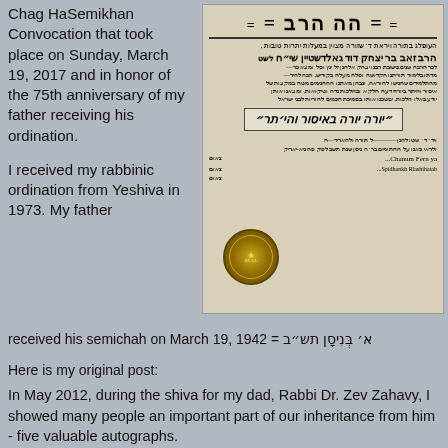Chag HaSemikhan Convocation that took place on Sunday, March 19, 2017 and in honor of the 75th anniversary of my father receiving his ordination.
[Figure (photo): Rabbinic ordination certificate (semichah) in Hebrew, with large decorative title text 'הה הרב', Hebrew body text, an ornate certificate section reading 'יורה יורה באיסור והיתר', signatures, and a gold embossed seal at the bottom left.]
I received my rabbinic ordination from Yeshiva in 1973. My father received his semichah on March 19, 1942 = א׳ בְּנִיסָן תש״ב
Here is my original post:
In May 2012, during the shiva for my dad, Rabbi Dr. Zev Zahavy, I showed many people an important part of our inheritance from him - five valuable autographs.
Above the rest was a certificate of Rabbi Dr. Mi...